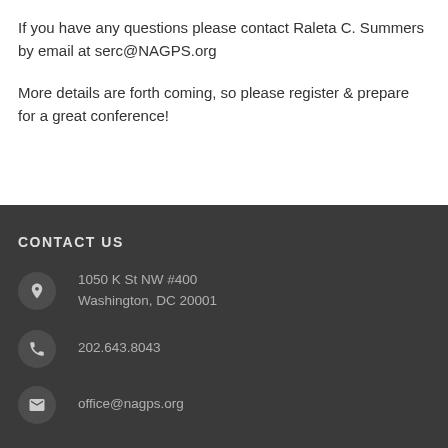If you have any questions please contact Raleta C. Summers by email at serc@NAGPS.org
More details are forth coming, so please register & prepare for a great conference!
CONTACT US
1050 K St NW #400
Washington, DC 20001
202.643.8043
office@nagps.org